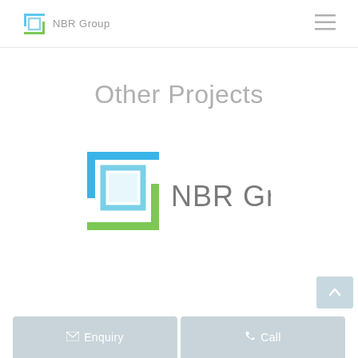NBR Group
Other Projects
[Figure (logo): NBR Group logo — a square bracket icon in blue and green with inner square, followed by 'NBR Group' text in grey]
Enquiry
Call